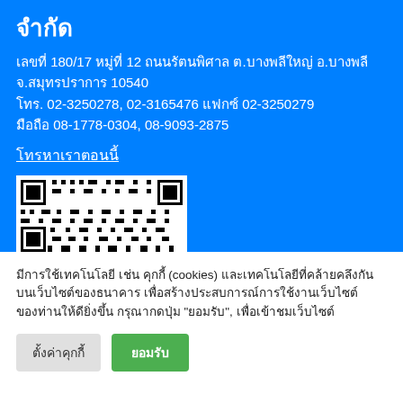จำกัด
เลขที่ 180/17 หมู่ที่ 12 ถนนรัตนพิศาล ต.บางพลีใหญ่ อ.บางพลี
จ.สมุทรปราการ 10540
โทร. 02-3250278, 02-3165476 แฟกซ์ 02-3250279
มือถือ 08-1778-0304, 08-9093-2875
โทรหาเราตอนนี้
[Figure (other): QR code in black and white]
มีการใช้เทคโนโลยี เช่น คุกกี้ (cookies) และเทคโนโลยีที่คล้ายคลึงกันบนเว็บไซต์ของธนาคาร เพื่อสร้างประสบการณ์การใช้งานเว็บไซต์ของท่านให้ดียิ่งขึ้น กรุณากดปุ่ม "ยอมรับ", เพื่อเข้าชมเว็บไซต์
ตั้งค่าคุกกี้
ยอมรับ